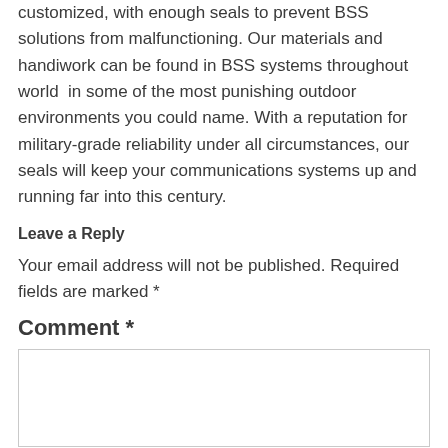customized, with enough seals to prevent BSS solutions from malfunctioning. Our materials and handiwork can be found in BSS systems throughout world  in some of the most punishing outdoor environments you could name. With a reputation for military-grade reliability under all circumstances, our seals will keep your communications systems up and running far into this century.
Leave a Reply
Your email address will not be published. Required fields are marked *
Comment *